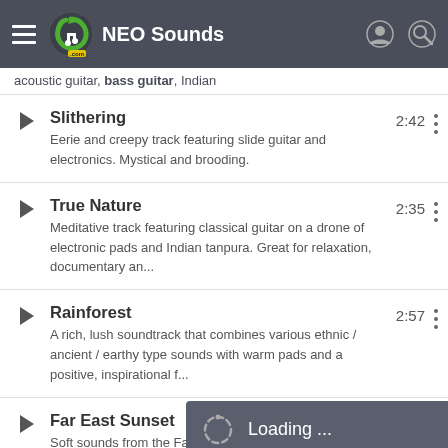NEO Sounds
acoustic guitar, bass guitar, Indian
Slithering — Eerie and creepy track featuring slide guitar and electronics. Mystical and brooding. 2:42
True Nature — Meditative track featuring classical guitar on a drone of electronic pads and Indian tanpura. Great for relaxation, documentary an... 2:35
Rainforest — A rich, lush soundtrack that combines various ethnic / ancient / earthy type sounds with warm pads and a positive, inspirational f... 2:57
Far East Sunset — Soft sounds from the Far East to connect 3:38
Loading ...